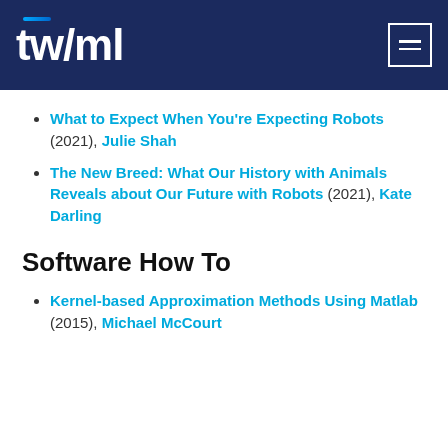twiml
What to Expect When You're Expecting Robots (2021), Julie Shah
The New Breed: What Our History with Animals Reveals about Our Future with Robots (2021), Kate Darling
Software How To
Kernel-based Approximation Methods Using Matlab (2015), Michael McCourt